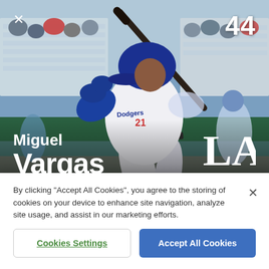[Figure (photo): Miguel Vargas, Los Angeles Dodgers baseball player #21, shown in batting stance wearing white Dodgers uniform, blue batting helmet, at a stadium with spectators in background. Jersey number 21 visible.]
44
Miguel Vargas
By clicking "Accept All Cookies", you agree to the storing of cookies on your device to enhance site navigation, analyze site usage, and assist in our marketing efforts.
Cookies Settings
Accept All Cookies